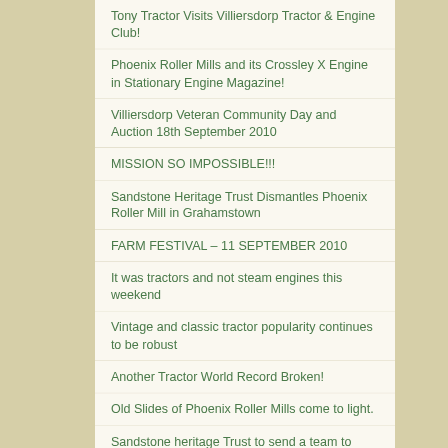Tony Tractor Visits Villiersdorp Tractor & Engine Club!
Phoenix Roller Mills and its Crossley X Engine in Stationary Engine Magazine!
Villiersdorp Veteran Community Day and Auction 18th September 2010
MISSION SO IMPOSSIBLE!!!
Sandstone Heritage Trust Dismantles Phoenix Roller Mill in Grahamstown
FARM FESTIVAL – 11 SEPTEMBER 2010
It was tractors and not steam engines this weekend
Vintage and classic tractor popularity continues to be robust
Another Tractor World Record Broken!
Old Slides of Phoenix Roller Mills come to light.
Sandstone heritage Trust to send a team to dismantle